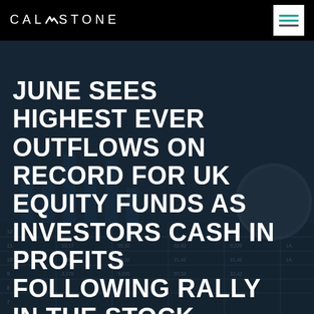CALASTONE
[Figure (photo): Background photo of financial spreadsheet/chart with numbers and bar graphs, tinted dark blue]
JUNE SEES HIGHEST EVER OUTFLOWS ON RECORD FOR UK EQUITY FUNDS AS INVESTORS CASH IN PROFITS FOLLOWING RALLY IN THE STOCK MARKETS